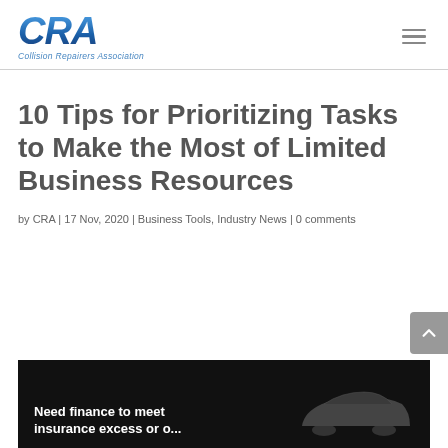CRA — Collision Repairers Association
10 Tips for Prioritizing Tasks to Make the Most of Limited Business Resources
by CRA | 17 Nov, 2020 | Business Tools, Industry News | 0 comments
[Figure (photo): Dark/black background advertisement image with white text reading 'Need finance to meet insurance excess or o...' and a car silhouette on the right]